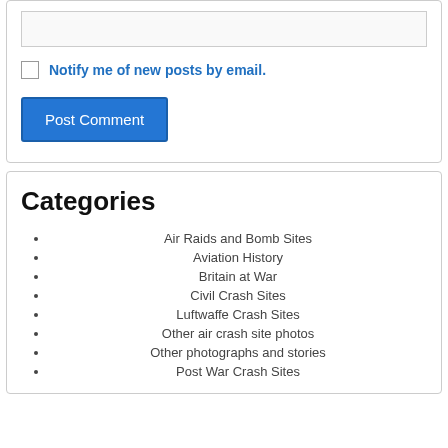[text area input box]
Notify me of new posts by email.
Post Comment
Categories
Air Raids and Bomb Sites
Aviation History
Britain at War
Civil Crash Sites
Luftwaffe Crash Sites
Other air crash site photos
Other photographs and stories
Post War Crash Sites